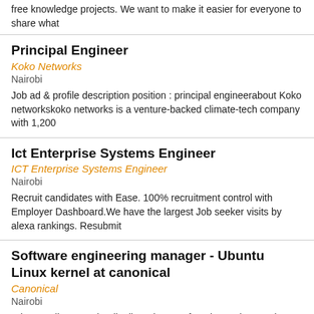free knowledge projects. We want to make it easier for everyone to share what
Principal Engineer
Koko Networks
Nairobi
Job ad & profile description position : principal engineerabout Koko networkskoko networks is a venture-backed climate-tech company with 1,200
Ict Enterprise Systems Engineer
ICT Enterprise Systems Engineer
Nairobi
Recruit candidates with Ease. 100% recruitment control with Employer Dashboard.We have the largest Job seeker visits by alexa rankings. Resubmit
Software engineering manager - Ubuntu Linux kernel at canonical
Canonical
Nairobi
What You'll Do Lead a distributed team of engineers in your time zone Develop your team through coaching, mentoring, leading by example, and feedback
Transmission Engineer At Platinum Outsourcing And Logistics